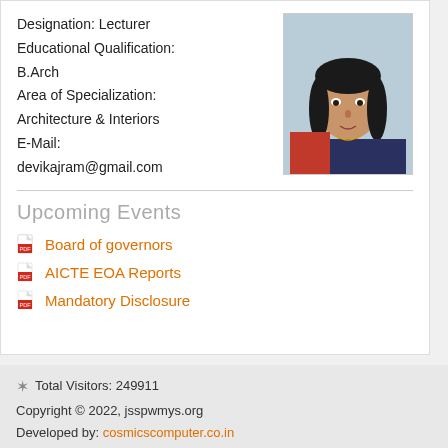Designation: Lecturer
Educational Qualification:
B.Arch
Area of Specialization:
Architecture & Interiors
E-Mail:
devikajram@gmail.com
[Figure (photo): Headshot photo of a woman with long dark hair wearing a red top and dark patterned dress, against a light blue background.]
Upcoming Events
Board of governors
AICTE EOA Reports
Mandatory Disclosure
Total Visitors: 249911
Copyright © 2022, jsspwmys.org
Developed by: cosmicscomputer.co.in